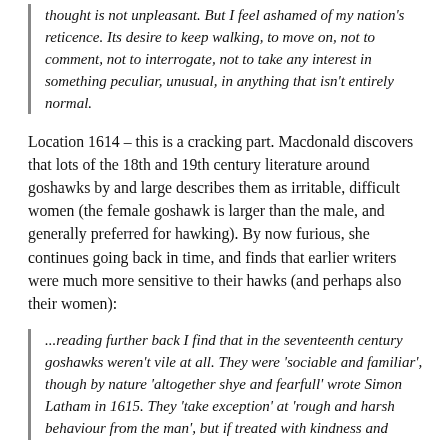thought is not unpleasant. But I feel ashamed of my nation's reticence. Its desire to keep walking, to move on, not to comment, not to interrogate, not to take any interest in something peculiar, unusual, in anything that isn't entirely normal.
Location 1614 – this is a cracking part. Macdonald discovers that lots of the 18th and 19th century literature around goshawks by and large describes them as irritable, difficult women (the female goshawk is larger than the male, and generally preferred for hawking). By now furious, she continues going back in time, and finds that earlier writers were much more sensitive to their hawks (and perhaps also their women):
...reading further back I find that in the seventeenth century goshawks weren't vile at all. They were 'sociable and familiar', though by nature 'altogether shye and fearfull' wrote Simon Latham in 1615. They 'take exception' at 'rough and harsh behaviour from the man', but if treated with kindness and